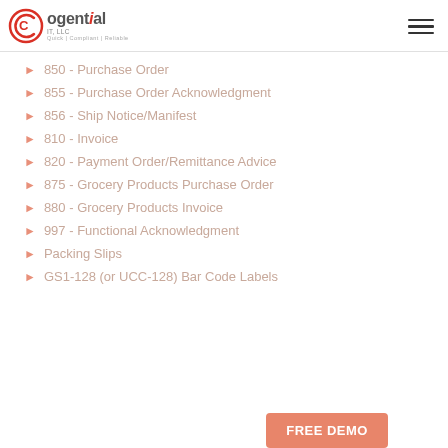Cogential IT, LLC - Quick | Compliant | Reliable
850 - Purchase Order
855 - Purchase Order Acknowledgment
856 - Ship Notice/Manifest
810 - Invoice
820 - Payment Order/Remittance Advice
875 - Grocery Products Purchase Order
880 - Grocery Products Invoice
997 - Functional Acknowledgment
Packing Slips
GS1-128 (or UCC-128) Bar Code Labels
FREE DEMO